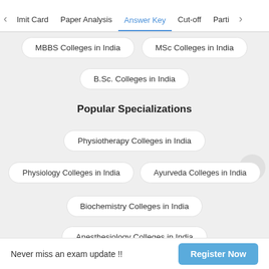Imit Card | Paper Analysis | Answer Key | Cut-off | Parti
MBBS Colleges in India
MSc Colleges in India
B.Sc. Colleges in India
Popular Specializations
Physiotherapy Colleges in India
Physiology Colleges in India
Ayurveda Colleges in India
Biochemistry Colleges in India
Anesthesiology Colleges in India
Medical Colleges in States
Never miss an exam update !! Register Now